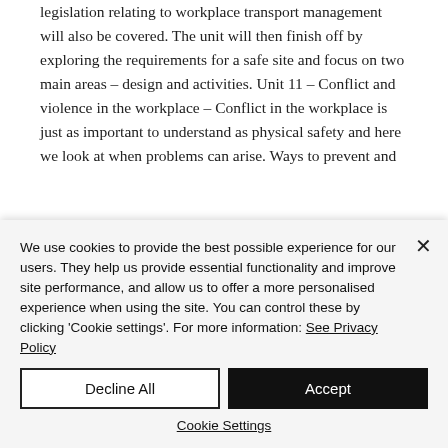legislation relating to workplace transport management will also be covered. The unit will then finish off by exploring the requirements for a safe site and focus on two main areas – design and activities. Unit 11 – Conflict and violence in the workplace – Conflict in the workplace is just as important to understand as physical safety and here we look at when problems can arise. Ways to prevent and
We use cookies to provide the best possible experience for our users. They help us provide essential functionality and improve site performance, and allow us to offer a more personalised experience when using the site. You can control these by clicking 'Cookie settings'. For more information: See Privacy Policy
Decline All
Accept
Cookie Settings